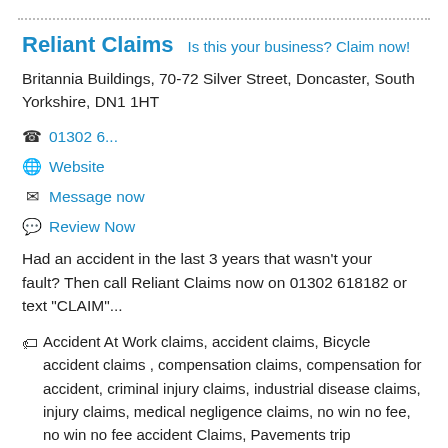Reliant Claims   Is this your business? Claim now!
Britannia Buildings, 70-72 Silver Street, Doncaster, South Yorkshire, DN1 1HT
01302 6...
Website
Message now
Review Now
Had an accident in the last 3 years that wasn't your fault? Then call Reliant Claims now on 01302 618182 or text "CLAIM"...
Accident At Work claims, accident claims, Bicycle accident claims , compensation claims, compensation for accident, criminal injury claims, industrial disease claims, injury claims, medical negligence claims, no win no fee, no win no fee accident Claims, Pavements trip